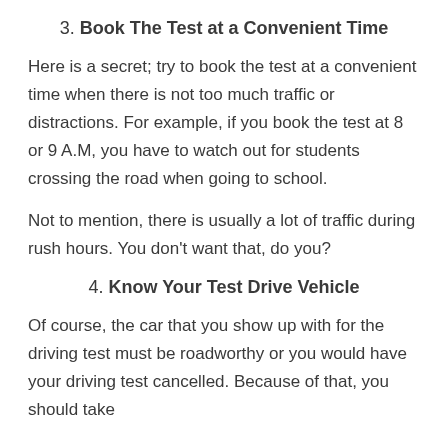3. Book The Test at a Convenient Time
Here is a secret; try to book the test at a convenient time when there is not too much traffic or distractions. For example, if you book the test at 8 or 9 A.M, you have to watch out for students crossing the road when going to school.
Not to mention, there is usually a lot of traffic during rush hours. You don't want that, do you?
4. Know Your Test Drive Vehicle
Of course, the car that you show up with for the driving test must be roadworthy or you would have your driving test cancelled. Because of that, you should take